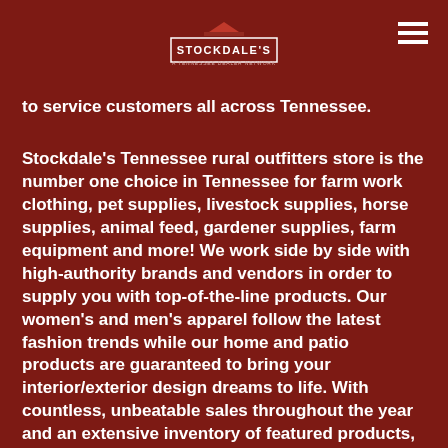STOCKDALE'S
to service customers all across Tennessee.
Stockdale's Tennessee rural outfitters store is the number one choice in Tennessee for farm work clothing, pet supplies, livestock supplies, horse supplies, animal feed, gardener supplies, farm equipment and more! We work side by side with high-authority brands and vendors in order to supply you with top-of-the-line products. Our women's and men's apparel follow the latest fashion trends while our home and patio products are guaranteed to bring your interior/exterior design dreams to life. With countless, unbeatable sales throughout the year and an extensive inventory of featured products, our Tennessee gardener's supply store provides customers with top-quality, cost-effective supplies. As America's rural outfitter, we truly have it all!